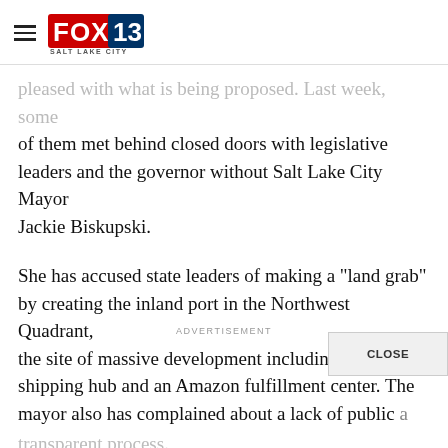FOX 13 Salt Lake City
pleased with what is being proposed. Last week, some of them met behind closed doors with legislative leaders and the governor without Salt Lake City Mayor Jackie Biskupski.
She has accused state leaders of making a "land grab" by creating the inland port in the Northwest Quadrant, the site of massive development including a UPS shipping hub and an Amazon fulfillment center. The mayor also has complained about a lack of public transparent process.
But where the mayor declined to participate, the
ADVERTISEMENT
CLOSE